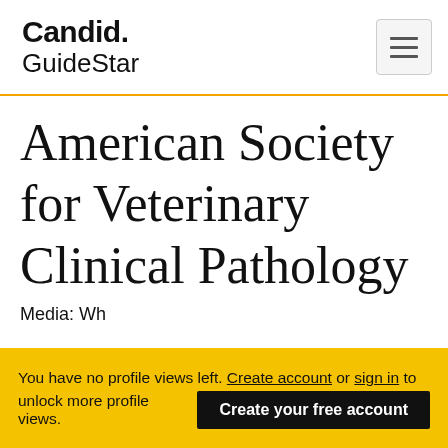Candid. GuideStar
American Society for Veterinary Clinical Pathology
You have no profile views left. Create account or sign in to unlock more profile views.